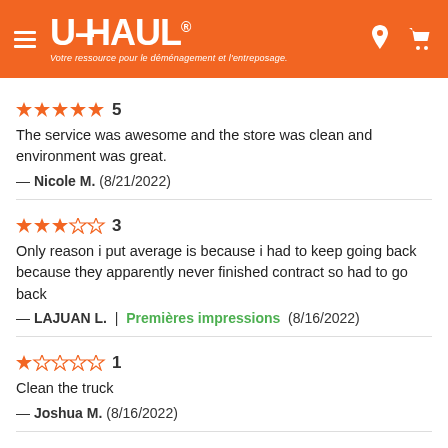U-HAUL — Votre ressource pour le déménagement et l'entreposage.
★★★★★ 5
The service was awesome and the store was clean and environment was great.
— Nicole M.  (8/21/2022)
★★★☆☆ 3
Only reason i put average is because i had to keep going back because they apparently never finished contract so had to go back
— LAJUAN L.  |  Premières impressions  (8/16/2022)
★☆☆☆☆ 1
Clean the truck
— Joshua M.  (8/16/2022)
★★★☆☆ 3